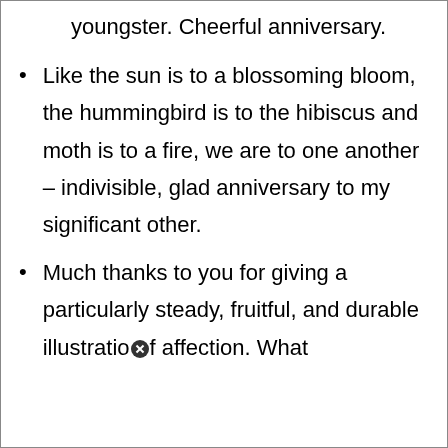youngster. Cheerful anniversary.
Like the sun is to a blossoming bloom, the hummingbird is to the hibiscus and moth is to a fire, we are to one another – indivisible, glad anniversary to my significant other.
Much thanks to you for giving a particularly steady, fruitful, and durable illustration of affection. What